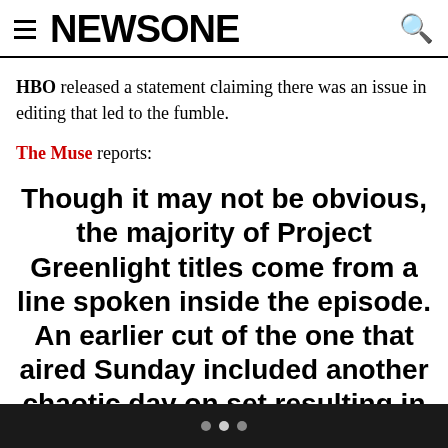NEWSONE
HBO released a statement claiming there was an issue in editing that led to the fumble.
The Muse reports:
Though it may not be obvious, the majority of Project Greenlight titles come from a line spoken inside the episode. An earlier cut of the one that aired Sunday included another chaotic day on set resulting in the remark “this is a hot ghetto mess.” In a scramble of last minute edits and changes, however, that scene was removed. The